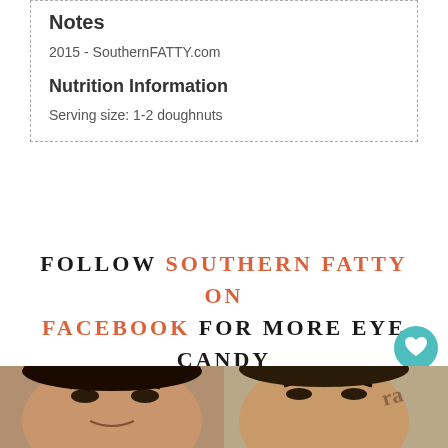Notes
2015 - SouthernFATTY.com
Nutrition Information
Serving size: 1-2 doughnuts
FOLLOW SOUTHERN FATTY ON FACEBOOK FOR MORE EYE CANDY AND UPDATES!
[Figure (photo): Two photos side by side at the bottom of the page showing close-up faces of people]
[Figure (other): Teal heart button with count 1 and share button on right side]